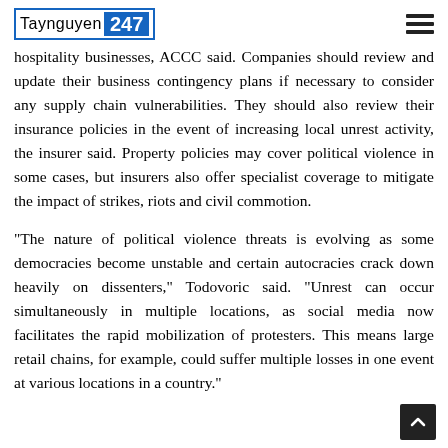Taynguyen 247
hospitality businesses, ACCC said. Companies should review and update their business contingency plans if necessary to consider any supply chain vulnerabilities. They should also review their insurance policies in the event of increasing local unrest activity, the insurer said. Property policies may cover political violence in some cases, but insurers also offer specialist coverage to mitigate the impact of strikes, riots and civil commotion.
“The nature of political violence threats is evolving as some democracies become unstable and certain autocracies crack down heavily on dissenters,” Todovoric said. “Unrest can occur simultaneously in multiple locations, as social media now facilitates the rapid mobilization of protesters. This means large retail chains, for example, could suffer multiple losses in one event at various locations in a country.”